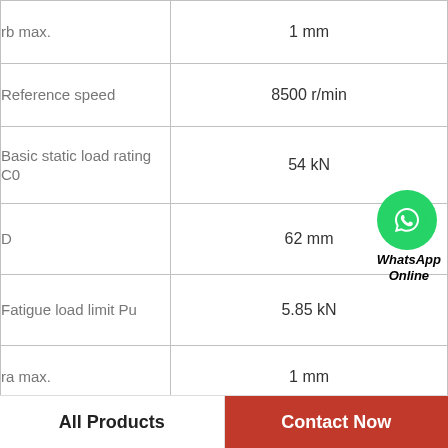| Parameter | Value |
| --- | --- |
| rb max. | 1 mm |
| Reference speed | 8500 r/min |
| Basic static load rating C0 | 54 kN |
| D | 62 mm |
| Fatigue load limit Pu | 5.85 kN |
| ra max. | 1 mm |
| r3,4 min. | 1 mm |
| [partially visible] | [partially visible] |
[Figure (logo): WhatsApp Online badge — green circle with phone handset icon, text 'WhatsApp Online' below]
All Products
Contact Now